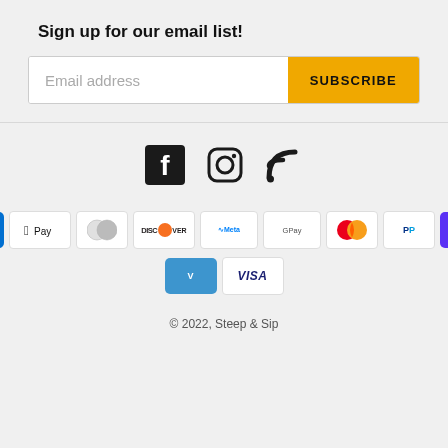Sign up for our email list!
[Figure (infographic): Email subscription form with text input field labeled 'Email address' and a yellow 'SUBSCRIBE' button]
[Figure (infographic): Social media icons: Facebook, Instagram, RSS feed]
[Figure (infographic): Payment method icons: American Express, Apple Pay, Diners Club, Discover, Meta Pay, Google Pay, Mastercard, PayPal, Shop Pay, Venmo, Visa]
© 2022, Steep & Sip